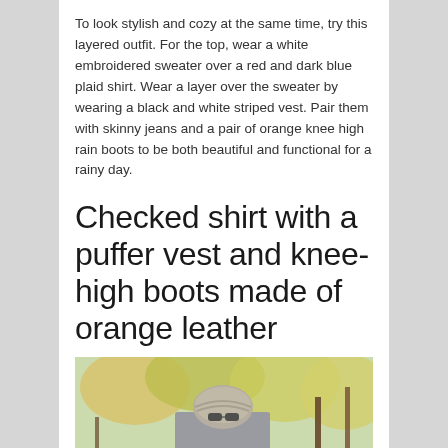To look stylish and cozy at the same time, try this layered outfit. For the top, wear a white embroidered sweater over a red and dark blue plaid shirt. Wear a layer over the sweater by wearing a black and white striped vest. Pair them with skinny jeans and a pair of orange knee high rain boots to be both beautiful and functional for a rainy day.
Checked shirt with a puffer vest and knee-high boots made of orange leather
[Figure (photo): A person wearing a turban/head wrap and sunglasses, standing outdoors among autumn trees with yellow-green foliage. The photo is partially visible, cropped at the bottom of the page.]